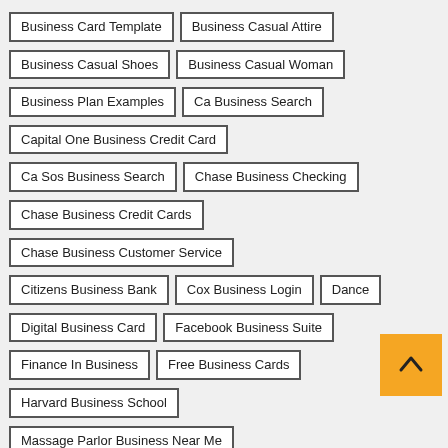Business Card Template
Business Casual Attire
Business Casual Shoes
Business Casual Woman
Business Plan Examples
Ca Business Search
Capital One Business Credit Card
Ca Sos Business Search
Chase Business Checking
Chase Business Credit Cards
Chase Business Customer Service
Citizens Business Bank
Cox Business Login
Dance
Digital Business Card
Facebook Business Suite
Finance In Business
Free Business Cards
Harvard Business School
Massage Parlor Business Near Me
Michigan Business Entity Search
Mind Your Business
Mind Your Own Business
Ohio Business Search